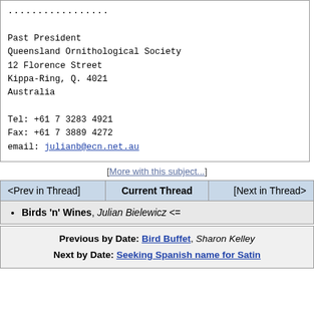.................

Past President
Queensland Ornithological Society
12 Florence Street
Kippa-Ring, Q. 4021
Australia

Tel: +61 7 3283 4921
Fax: +61 7 3889 4272
email: julianb@ecn.net.au
[More with this subject...]
| <Prev in Thread] | Current Thread | [Next in Thread> |
| --- | --- | --- |
Birds 'n' Wines, Julian Bielewicz <=
Previous by Date: Bird Buffet, Sharon Kelley
Next by Date: Seeking Spanish name for Satin Bowerbird (Fwd), Paul Taylor